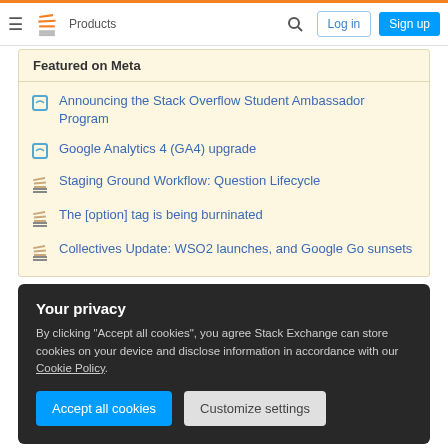Stack Overflow — Products | Log in | Sign up
Featured on Meta
Announcing the Stack Overflow Student Ambassador Program
Google Analytics 4 (GA4) upgrade
Staging Ground Workflow: Question Lifecycle
The [option] tag is being burninated
Collectives Update: WSO2 launches, and Google Go sunsets
Your privacy
By clicking "Accept all cookies", you agree Stack Exchange can store cookies on your device and disclose information in accordance with our Cookie Policy.
Accept all cookies | Customize settings